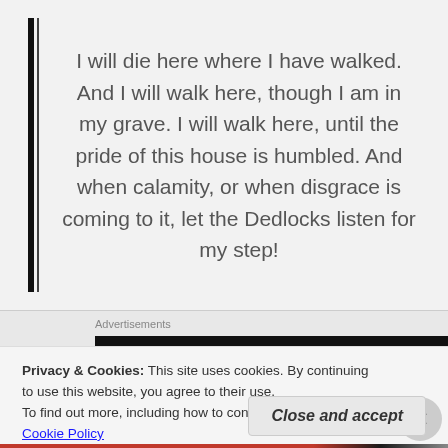I will die here where I have walked. And I will walk here, though I am in my grave. I will walk here, until the pride of this house is humbled. And when calamity, or when disgrace is coming to it, let the Dedlocks listen for my step!
Advertisements
[Figure (other): Dark advertisement banner with white icon and partially visible text]
Privacy & Cookies: This site uses cookies. By continuing to use this website, you agree to their use.
To find out more, including how to control cookies, see here: Cookie Policy
Close and accept